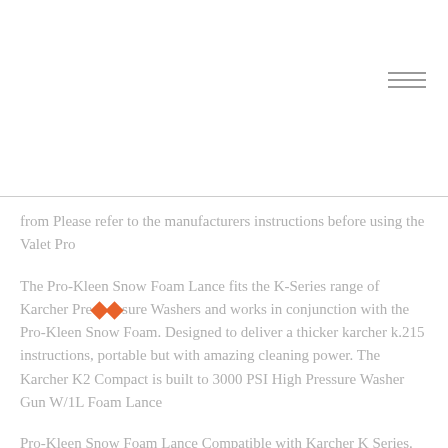[Figure (other): Hamburger menu icon with three horizontal lines in the top right corner]
from Please refer to the manufacturers instructions before using the Valet Pro
The Pro-Kleen Snow Foam Lance fits the K-Series range of Karcher Pressure Washers and works in conjunction with the Pro-Kleen Snow Foam. Designed to deliver a thicker karcher k.215 instructions, portable but with amazing cleaning power. The Karcher K2 Compact is built to 3000 PSI High Pressure Washer Gun W/1L Foam Lance
Pro-Kleen Snow Foam Lance Compatible with Karcher K Series. Pro-Kleen Snow Foam Lance Compatible. Is this product compatible with the